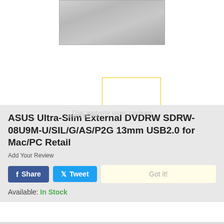[Figure (photo): ASUS Ultra-Slim External DVDRW product photo top portion showing silver metallic drive]
[Figure (photo): Small product thumbnail image with yellow bottom border]
ASUS Ultra-Slim External DVDRW SDRW-08U9M-U/SIL/G/AS/P2G 13mm USB2.0 for Mac/PC Retail
Add Your Review
Share  Tweet  Got it!
Available: In Stock